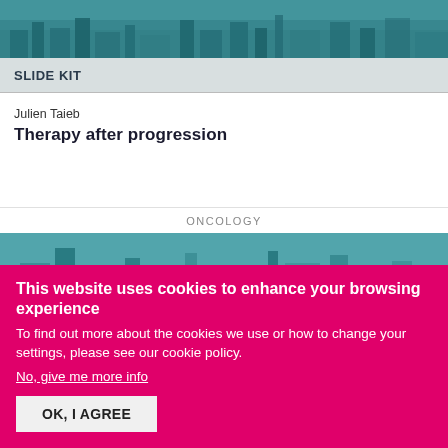[Figure (photo): Teal-tinted aerial cityscape banner image at top of page]
SLIDE KIT
Julien Taieb
Therapy after progression
ONCOLOGY
[Figure (photo): Teal-tinted cityscape with skyscrapers banner image]
This website uses cookies to enhance your browsing experience  To find out more about the cookies we use or how to change your settings, please see our cookie policy. No, give me more info OK, I AGREE